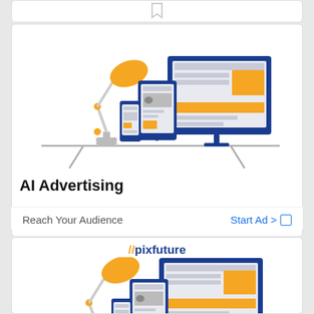[Figure (illustration): Top partial card showing a bookmark/save icon]
[Figure (illustration): AI Advertising card with illustration of a desk lamp and multiple screens (monitor, tablet, phone) showing a website layout with yellow accent blocks on a desk/easel]
AI Advertising
Reach Your Audience
Start Ad >
[Figure (illustration): pixfuture branded card with //pixfuture logo and illustration of a desk lamp and multiple screens (monitor, tablet, phone) showing a website layout with yellow accent blocks on a desk/easel]